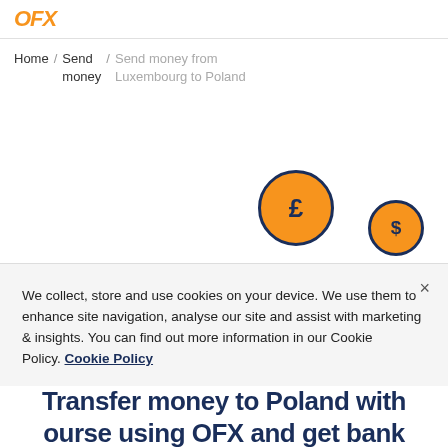OFX
Home / Send money / Send money from Luxembourg to Poland
[Figure (illustration): Three currency coins with pound (£), dollar ($), and yen (¥) symbols, styled in orange with dark navy borders, arranged in a scattered layout on the right side of the page.]
We collect, store and use cookies on your device. We use them to enhance site navigation, analyse our site and assist with marketing & insights. You can find out more information in our Cookie Policy. Cookie Policy
Transfer money to Poland with ourse using OFX and get bank